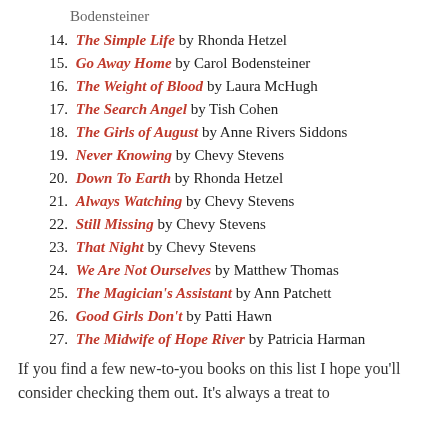Bodensteiner
14. The Simple Life by Rhonda Hetzel
15. Go Away Home by Carol Bodensteiner
16. The Weight of Blood by Laura McHugh
17. The Search Angel by Tish Cohen
18. The Girls of August by Anne Rivers Siddons
19. Never Knowing by Chevy Stevens
20. Down To Earth by Rhonda Hetzel
21. Always Watching by Chevy Stevens
22. Still Missing by Chevy Stevens
23. That Night by Chevy Stevens
24. We Are Not Ourselves by Matthew Thomas
25. The Magician's Assistant by Ann Patchett
26. Good Girls Don't by Patti Hawn
27. The Midwife of Hope River by Patricia Harman
If you find a few new-to-you books on this list I hope you'll consider checking them out. It's always a treat to